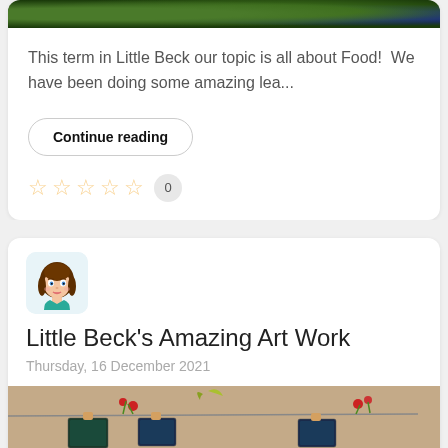[Figure (photo): Top cropped food/vegetable photo with dark green and blue tones]
This term in Little Beck our topic is all about Food!  We have been doing some amazing lea...
Continue reading
☆ ☆ ☆ ☆ ☆  0
[Figure (illustration): Avatar of a cartoon woman with brown hair, blue eyes, wearing teal top]
Little Beck's Amazing Art Work
Thursday, 16 December 2021
[Figure (photo): Bottom photo showing artwork hung on a line with clothespins]